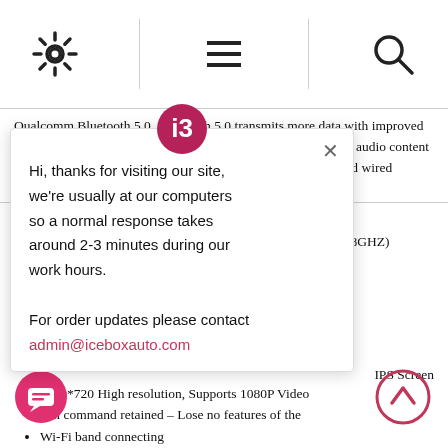[Figure (screenshot): Top navigation bar with gear/settings icon, menu icon, and search icon]
Qualcomm Bluetooth 5.0. Bluetooth 5.0 transmits more data with improved speed and greater range, allowing you to enjoy high-resolution audio content in exceptional quality, as close as possible to that of a dedicated wired connection.
P
[Figure (screenshot): Live chat popup with i3 logo, close button, message text: Hi, thanks for visiting our site, we're usually at our computers so a normal response takes around 2-3 minutes during our work hours. For order updates please contact admin@iceboxauto.com]
2.0GHZ), 4 x A53 (1.8GHZ)
raphics acceleration
ground colours
Auto
IPS Screen
1920*720 High resolution, Supports 1080P Video
inal command retained – Lose no features of the
Wi-Fi band connecting
Qualcomm Bluetooth 5.0
Built-in Google App integration